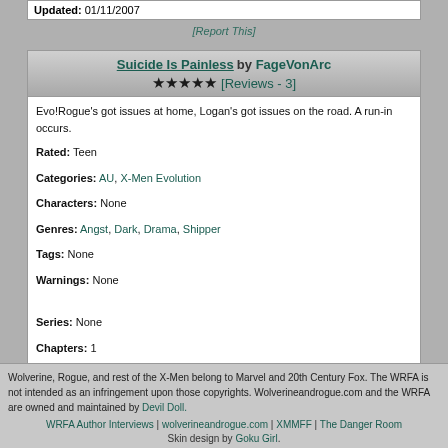Updated: 01/11/2007
[Report This]
Suicide Is Painless by FageVonArc ★★★★★ [Reviews - 3]
Evo!Rogue's got issues at home, Logan's got issues on the road. A run-in occurs.

Rated: Teen
Categories: AU, X-Men Evolution
Characters: None
Genres: Angst, Dark, Drama, Shipper
Tags: None
Warnings: None

Series: None
Chapters: 1
Wordcount: 2614 - Hits: 2066
Complete?: Yes - Published: 11/07/2006 - Last Updated: 11/07/2006
[Report This]
1 2 [Next]
Wolverine, Rogue, and rest of the X-Men belong to Marvel and 20th Century Fox. The WRFA is not intended as an infringement upon those copyrights. Wolverineandrogue.com and the WRFA are owned and maintained by Devil Doll.
WRFA Author Interviews | wolverineandrogue.com | XMMFF | The Danger Room
Skin design by Goku Girl.